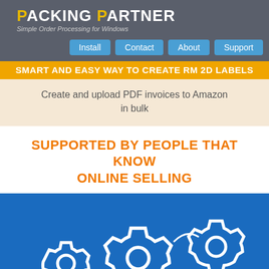PACKING PARTNER - Simple Order Processing for Windows
Install | Contact | About | Support
SMART AND EASY WAY TO CREATE RM 2D LABELS
Create and upload PDF invoices to Amazon in bulk
SUPPORTED BY PEOPLE THAT KNOW ONLINE SELLING
[Figure (illustration): Three interlocking white gear icons on a blue background]